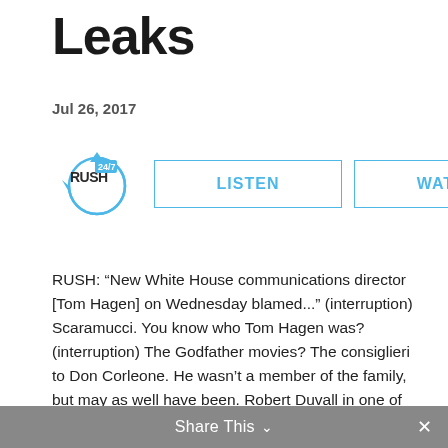Leaks
Jul 26, 2017
[Figure (logo): Rush 24/7 logo with LISTEN and WATCH buttons]
RUSH: “New White House communications director [Tom Hagen] on Wednesday blamed...” (interruption) Scaramucci. You know who Tom Hagen was? (interruption) The Godfather movies? The consiglieri to Don Corleone. He wasn’t a member of the family, but may as well have been. Robert Duvall in one of the greatest roles ever. I once had a chance to meet Robert Duvall; it didn’t happen. But, anyway.
So if I occasionally slip up and call Scaramucci “Tom
Share This ⌄ ×